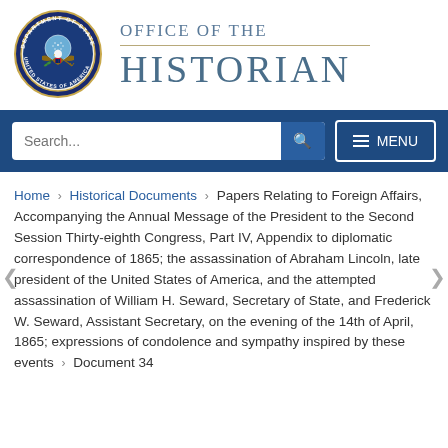[Figure (logo): US Department of State seal — circular emblem with eagle, shield, and text 'Department of State United States of America']
OFFICE OF THE HISTORIAN
[Figure (screenshot): Navigation bar with search box and MENU button on dark blue background]
Home › Historical Documents › Papers Relating to Foreign Affairs, Accompanying the Annual Message of the President to the Second Session Thirty-eighth Congress, Part IV, Appendix to diplomatic correspondence of 1865; the assassination of Abraham Lincoln, late president of the United States of America, and the attempted assassination of William H. Seward, Secretary of State, and Frederick W. Seward, Assistant Secretary, on the evening of the 14th of April, 1865; expressions of condolence and sympathy inspired by these events › Document 34